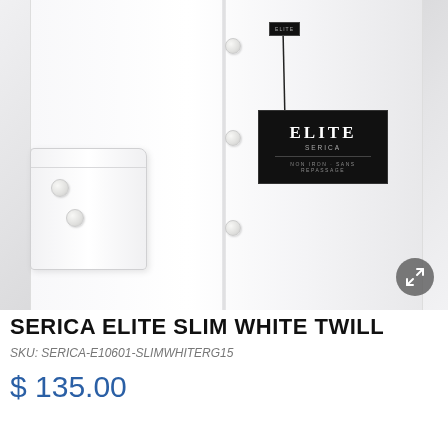[Figure (photo): White dress shirt folded showing collar, cuff, and button placket with Elite Series Non Iron tag attached]
SERICA ELITE SLIM WHITE TWILL
SKU: SERICA-E10601-SLIMWHITERG15
$ 135.00